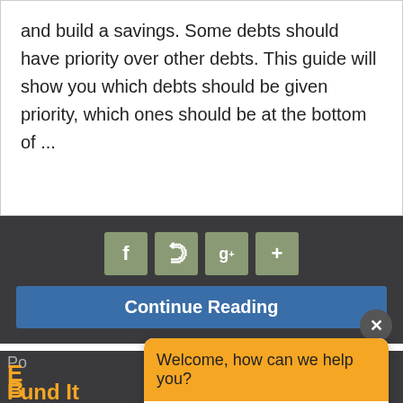and build a savings. Some debts should have priority over other debts. This guide will show you which debts should be given priority, which ones should be at the bottom of ...
[Figure (screenshot): Social share buttons for Facebook, Twitter, Google+, and a plus button, rendered as muted green square icons with white symbols on a dark background bar.]
Continue Reading
Po
Welcome, how can we help you?
Write your message...
E
B
Fund It